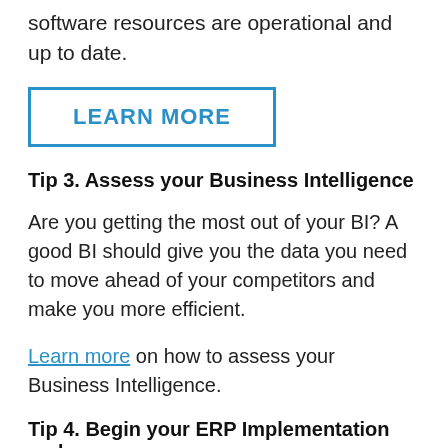software resources are operational and up to date.
LEARN MORE
Tip 3. Assess your Business Intelligence
Are you getting the most out of your BI? A good BI should give you the data you need to move ahead of your competitors and make you more efficient.
Learn more on how to assess your Business Intelligence.
Tip 4. Begin your ERP Implementation and